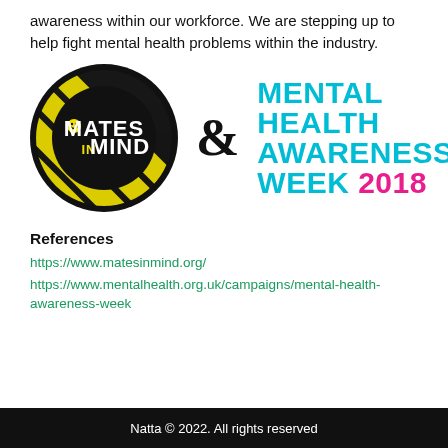awareness within our workforce. We are stepping up to help fight mental health problems within the industry.
[Figure (logo): Mates in Mind circular logo with black and yellow diagonal stripes and white text, alongside an ampersand symbol and 'Mental Health Awareness Week 2018' text in teal and pink]
References
https://www.matesinmind.org/
https://www.mentalhealth.org.uk/campaigns/mental-health-awareness-week
Natta © 2022. All rights reserved